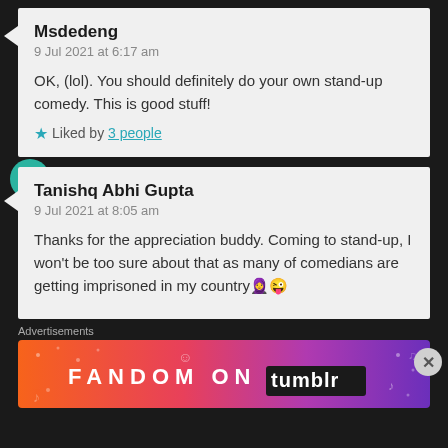Msdedeng
9 Jul 2021 at 6:17 am

OK, (lol). You should definitely do your own stand-up comedy. This is good stuff!

★ Liked by 3 people
Tanishq Abhi Gupta
9 Jul 2021 at 8:05 am

Thanks for the appreciation buddy. Coming to stand-up, I won't be too sure about that as many of comedians are getting imprisoned in my country🧕😜
Advertisements
[Figure (other): Fandom on Tumblr advertisement banner with colorful orange-to-purple gradient background and white text reading FANDOM ON tumblr]